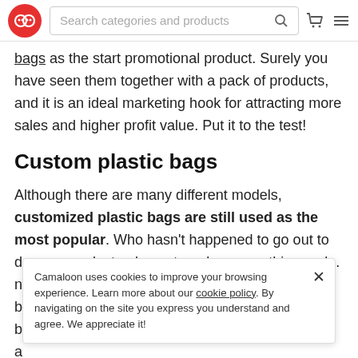Search categories and products
bags as the start promotional product. Surely you have seen them together with a pack of products, and it is an ideal marketing hook for attracting more sales and higher profit value. Put it to the test!
Custom plastic bags
Although there are many different models, customized plastic bags are still used as the most popular. Who hasn't happened to go out to do an errand, stop by a store, buy something and... not carry bags. As this usually happens, b b a easy to get a hold of them.
Camaloon uses cookies to improve your browsing experience. Learn more about our cookie policy. By navigating on the site you express you understand and agree. We appreciate it!